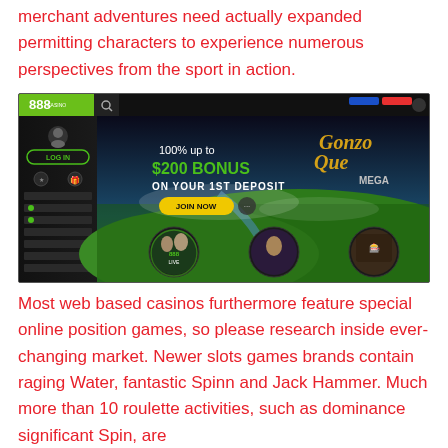merchant adventures need actually expanded permitting characters to experience numerous perspectives from the sport in action.
[Figure (screenshot): 888 casino website screenshot showing a promotional banner: '100% up to $200 BONUS ON YOUR 1ST DEPOSIT' with a JOIN NOW button, a 'Gonzo Quest Mega' game prominent on the right, a green sidebar with 888 logo and LOG IN button, and circular game thumbnails at the bottom featuring live casino and slot games.]
Most web based casinos furthermore feature special online position games, so please research inside ever-changing market. Newer slots games brands contain raging Water, fantastic Spinn and Jack Hammer. Much more than 10 roulette activities, such as dominance significant Spin, are